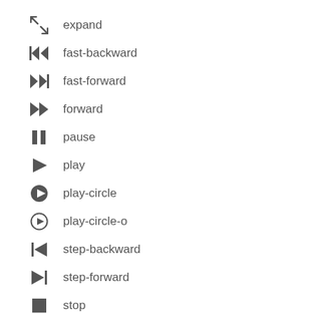expand
fast-backward
fast-forward
forward
pause
play
play-circle
play-circle-o
step-backward
step-forward
stop
youtube-play
Brand Icons